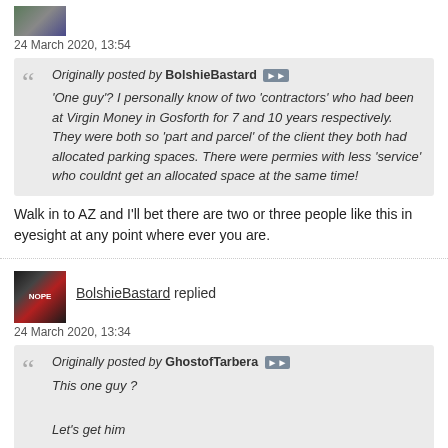24 March 2020, 13:54
Originally posted by BolshieBastard
'One guy'? I personally know of two 'contractors' who had been at Virgin Money in Gosforth for 7 and 10 years respectively. They were both so 'part and parcel' of the client they both had allocated parking spaces. There were permies with less 'service' who couldnt get an allocated space at the same time!
Walk in to AZ and I'll bet there are two or three people like this in eyesight at any point where ever you are.
BolshieBastard replied
24 March 2020, 13:34
Originally posted by GhostofTarbera
This one guy ?

Let's get him


Sent from my iPhone using Contractor UK Forum